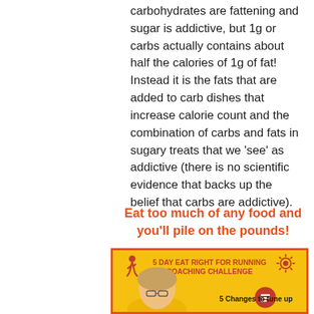carbohydrates are fattening and sugar is addictive, but 1g or carbs actually contains about half the calories of 1g of fat!  Instead it is the fats that are added to carb dishes that increase calorie count and the combination of carbs and fats in sugary treats that we 'see' as addictive (there is no scientific evidence that backs up the belief that carbs are addictive).
Eat too much of any food and you'll pile on the pounds!
[Figure (infographic): 5 Day Eat Right for Running Coaching Challenge promotional banner on yellow background with red border, featuring a running figure icon, sun/spiral icon, a woman's photo, chat bubble icon, and text '5 Changes to tune up']